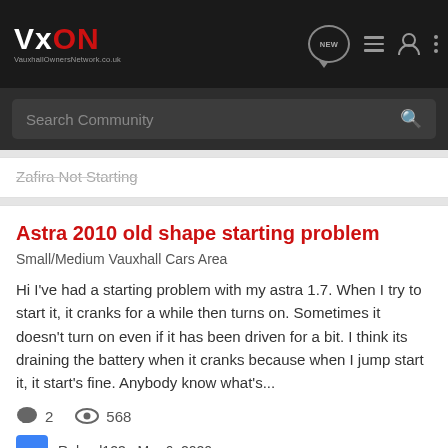[Figure (logo): VxON (Vauxhall Owners Network) logo on dark navigation bar with nav icons]
Search Community
Zafira Not Starting
Astra 2010 old shape starting problem
Small/Medium Vauxhall Cars Area
Hi I've had a starting problem with my astra 1.7. When I try to start it, it cranks for a while then turns on. Sometimes it doesn't turn on even if it has been driven for a bit. I think its draining the battery when it cranks because when I jump start it, it start's fine. Anybody know what's...
2   568
Raheel123 · Mar 6, 2020
astra   starting problem